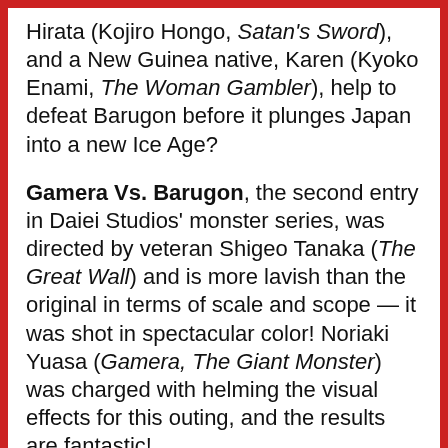Hirata (Kojiro Hongo, Satan's Sword), and a New Guinea native, Karen (Kyoko Enami, The Woman Gambler), help to defeat Barugon before it plunges Japan into a new Ice Age?
Gamera Vs. Barugon, the second entry in Daiei Studios' monster series, was directed by veteran Shigeo Tanaka (The Great Wall) and is more lavish than the original in terms of scale and scope — it was shot in spectacular color! Noriaki Yuasa (Gamera, The Giant Monster) was charged with helming the visual effects for this outing, and the results are fantastic!
The original films have woefully been underrepresented on DVD, especially releases featuring the authentic Japanese versions. Shout! Factory, in association with Kadokawa Pictures, will